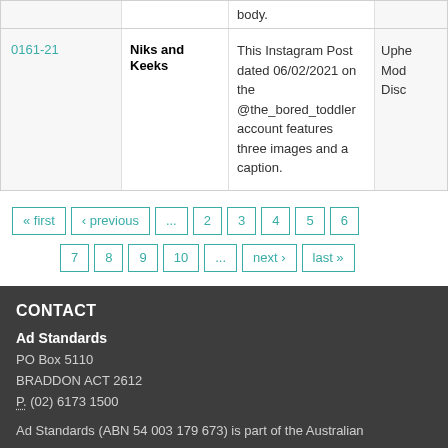| Case # | Advertiser | Description | Outcome |
| --- | --- | --- | --- |
| 0161-21 | Niks and Keeks | This Instagram Post dated 06/02/2021 on the @the_bored_toddler account features three images and a caption. | Upheld - Modified/Discontinued |
« first ‹ previous ... 2 3 4 5 6 7 8 9 10 ... next › last »
CONTACT
Ad Standards
PO Box 5110
BRADDON ACT 2612
P. (02) 6173 1500
Ad Standards (ABN 54 003 179 673) is part of the Australian